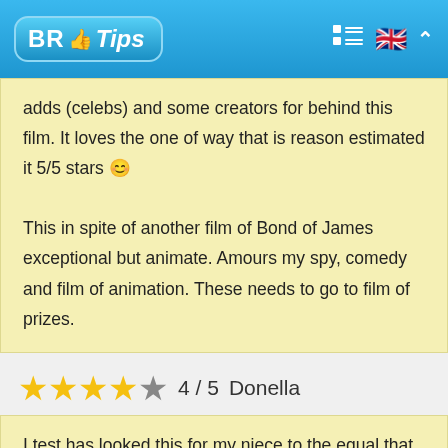BR Tips
adds (celebs) and some creators for behind this film. It loves the one of way that is reason estimated it 5/5 stars 😊

This in spite of another film of Bond of James exceptional but animate. Amours my spy, comedy and film of animation. These needs to go to film of prizes.
★★★★☆ 4 / 5  Donella
I test has looked this for my niece to the equal that